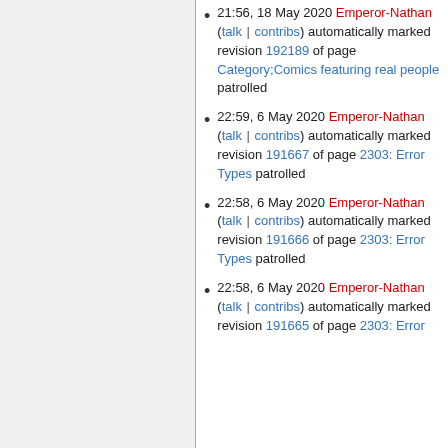21:56, 18 May 2020 Emperor-Nathan (talk | contribs) automatically marked revision 192189 of page Category;Comics featuring real people patrolled
22:59, 6 May 2020 Emperor-Nathan (talk | contribs) automatically marked revision 191667 of page 2303: Error Types patrolled
22:58, 6 May 2020 Emperor-Nathan (talk | contribs) automatically marked revision 191666 of page 2303: Error Types patrolled
22:58, 6 May 2020 Emperor-Nathan (talk | contribs) automatically marked revision 191665 of page 2303: Error